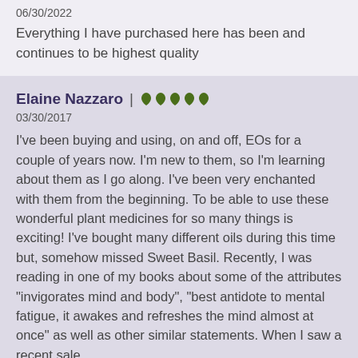06/30/2022
Everything I have purchased here has been and continues to be highest quality
Elaine Nazzaro | ♦♦♦♦♦
03/30/2017
I've been buying and using, on and off, EOs for a couple of years now. I'm new to them, so I'm learning about them as I go along. I've been very enchanted with them from the beginning. To be able to use these wonderful plant medicines for so many things is exciting! I've bought many different oils during this time but, somehow missed Sweet Basil. Recently, I was reading in one of my books about some of the attributes "invigorates mind and body", "best antidote to mental fatigue, it awakes and refreshes the mind almost at once" as well as other similar statements. When I saw a recent sale